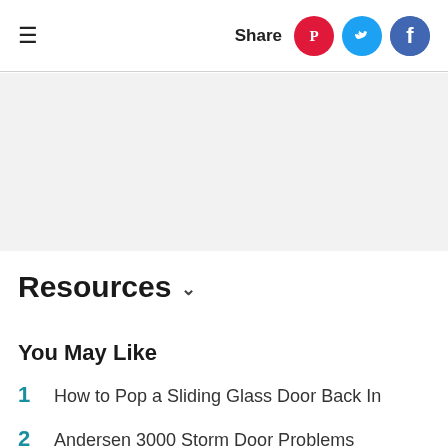≡   Share
[Figure (other): Gray banner advertisement placeholder area]
Resources ∨
You May Like
1  How to Pop a Sliding Glass Door Back In
2  Andersen 3000 Storm Door Problems
3  How to Fix a Garage Door Panel